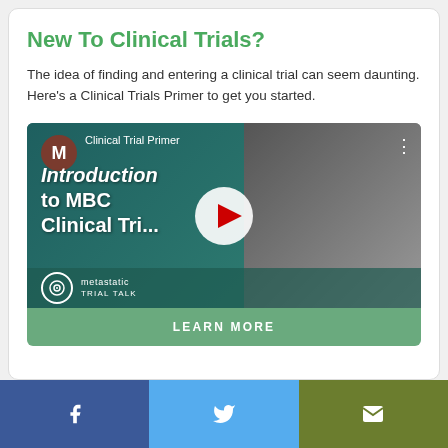New To Clinical Trials?
The idea of finding and entering a clinical trial can seem daunting. Here's a Clinical Trials Primer to get you started.
[Figure (screenshot): YouTube video thumbnail for 'Clinical Trial Primer: Introduction to MBC Clinical Trials' by Metastatic Trial Talk, with a red play button overlay and a Learn More button below]
Facebook | Twitter | Email social sharing bar